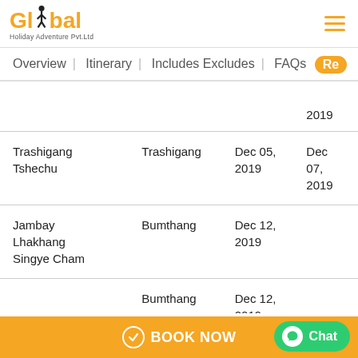Global Holiday Adventure Pvt.Ltd
Overview | Itinerary | Includes Excludes | FAQs | Re
|  |  |  | 2019 |
| --- | --- | --- | --- |
| Trashigang Tshechu | Trashigang | Dec 05, 2019 | Dec 07, 2019 |
| Jambay Lhakhang Singye Cham | Bumthang | Dec 12, 2019 |  |
|  | Bumthang | Dec 12, 2019 |  |
| Drak Wangchuk... | Thimphu | Dec 18... |  |